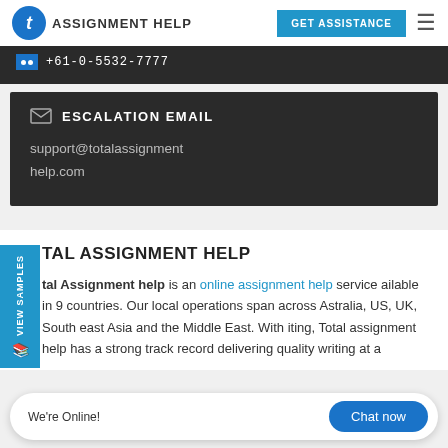t AssignmentHelp | GET ASSISTANCE
📞 +61-0-5532-7777
ESCALATION EMAIL
support@totalassignment help.com
TAL ASSIGNMENT HELP
Total Assignment help is an online assignment help service available in 9 countries. Our local operations span across Australia, US, UK, South east Asia and the Middle East. With quality writing, Total assignment help has a strong track record delivering quality writing at a
We're Online! Chat now